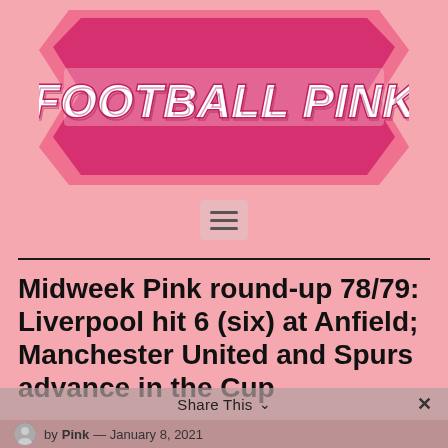[Figure (logo): Football Pink logo — double-headed pink arrow with 'FOOTBALL PINK' text in bold white/pink 3D lettering]
[Figure (other): Hamburger menu icon (three horizontal lines) on a light pink rounded rectangle background]
Midweek Pink round-up 78/79: Liverpool hit 6 (six) at Anfield; Manchester United and Spurs advance in the Cup
by Pink — January 8, 2021